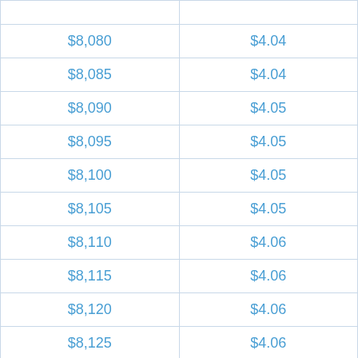| $8,080 | $4.04 |
| $8,085 | $4.04 |
| $8,090 | $4.05 |
| $8,095 | $4.05 |
| $8,100 | $4.05 |
| $8,105 | $4.05 |
| $8,110 | $4.06 |
| $8,115 | $4.06 |
| $8,120 | $4.06 |
| $8,125 | $4.06 |
| $8,130 | $4.07 |
| $8,135 | $4.07 |
| $8,140 | $4.07 |